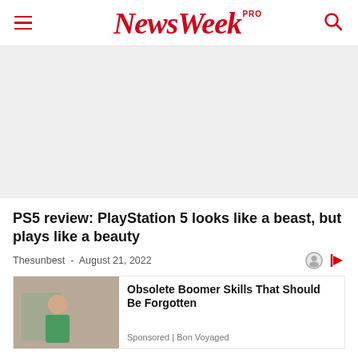NewsWeek PRO
[Figure (other): Light gray advertisement placeholder area]
PS5 review: PlayStation 5 looks like a beast, but plays like a beauty
Thesunbest - August 21, 2022
[Figure (photo): Sponsored advertisement image showing a person working, with headline 'Obsolete Boomer Skills That Should Be Forgotten', Sponsored | Bon Voyaged]